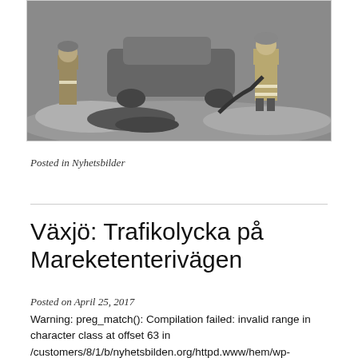[Figure (photo): Black and white photograph of a firefighter standing next to a burned/damaged car on a wet surface, holding a hose.]
Posted in Nyhetsbilder
Växjö: Trafikolycka på Mareketenterivägen
Posted on April 25, 2017
Warning: preg_match(): Compilation failed: invalid range in character class at offset 63 in /customers/8/1/b/nyhetsbilden.org/httpd.www/hem/wp-content/plugins/nextgen-